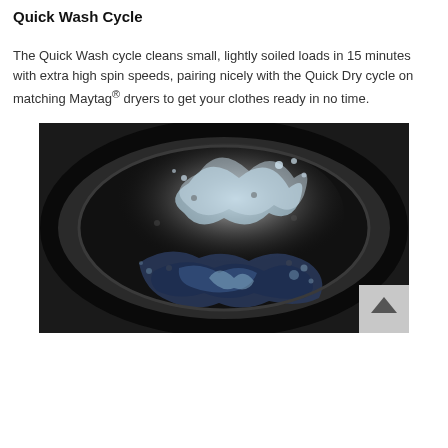Quick Wash Cycle
The Quick Wash cycle cleans small, lightly soiled loads in 15 minutes with extra high spin speeds, pairing nicely with the Quick Dry cycle on matching Maytag® dryers to get your clothes ready in no time.
[Figure (photo): Close-up black and white photo of the inside of a front-load washing machine drum with water splashing and clothes tumbling, showing a circular drum interior with water droplets and motion.]